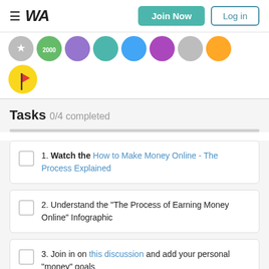≡ WA  Join Now  Log in
[Figure (illustration): Row of achievement badge circles in various colors (grey, green, purple, teal, blue, purple, grey, orange), plus a yellow circle with a red flag below]
Tasks 0/4 completed
1. Watch the How to Make Money Online - The Process Explained
2. Understand the "The Process of Earning Money Online" Infographic
3. Join in on this discussion and add your personal "money" goals